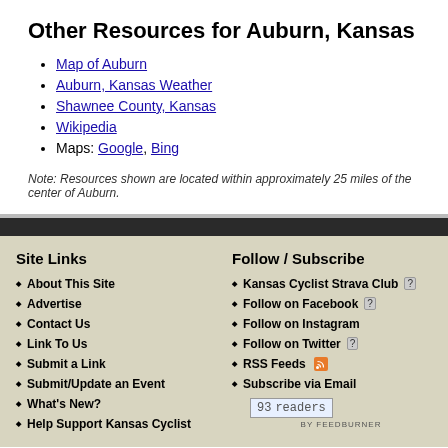Other Resources for Auburn, Kansas
Map of Auburn
Auburn, Kansas Weather
Shawnee County, Kansas
Wikipedia
Maps: Google, Bing
Note: Resources shown are located within approximately 25 miles of the center of Auburn.
Site Links
About This Site
Advertise
Contact Us
Link To Us
Submit a Link
Submit/Update an Event
What's New?
Help Support Kansas Cyclist
Follow / Subscribe
Kansas Cyclist Strava Club [?]
Follow on Facebook [?]
Follow on Instagram
Follow on Twitter [?]
RSS Feeds
Subscribe via Email
93 readers BY FEEDBURNER